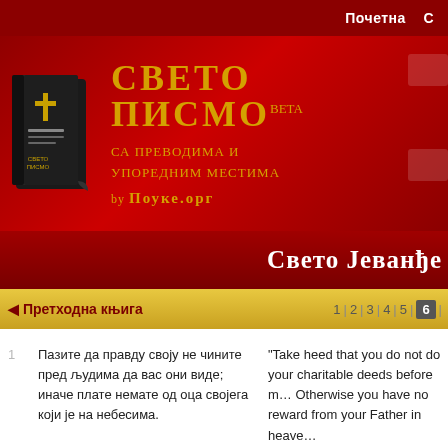Почетна
[Figure (logo): Свето Писмо website logo with book icon and Cyrillic title text 'Свето Писмо beta са преводима и упоредним местима by Поуке.орг']
Свето Јеванђе
◀ Претходна књига    1 | 2 | 3 | 4 | 5 | 6 |
1 Пазите да правду своју не чините пред људима да вас они виде; иначе плате немате од оца своjега који је на небесима. | "Take heed that you do not do your charitable deeds before men, to be seen by them. Otherwise you have no reward from your Father in heaven.
2 Кад дакле дајеш милостињу, не труби пред собом, као што чине лицемјери по | "Therefore, when you do a charitable deed, do not sound a tru